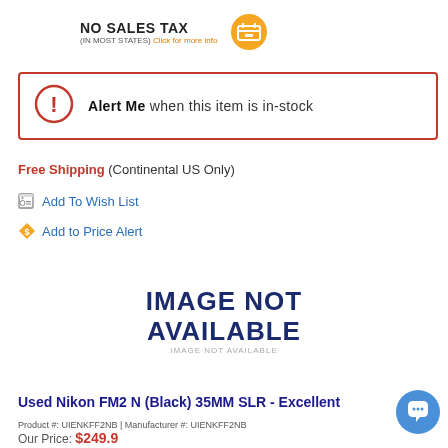NO SALES TAX (IN MOST STATES) Click for more info
Alert Me when this item is in-stock
Free Shipping (Continental US Only)
Add To Wish List
Add to Price Alert
[Figure (other): IMAGE NOT AVAILABLE placeholder graphic]
Used Nikon FM2 N (Black) 35MM SLR - Excellent
Product #: UIENKFF2NB | Manufacturer #: UIENKFF2NB